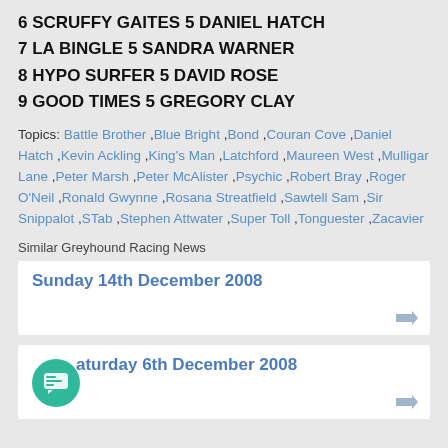6 SCRUFFY GAITES 5 DANIEL HATCH
7 LA BINGLE 5 SANDRA WARNER
8 HYPO SURFER 5 DAVID ROSE
9 GOOD TIMES 5 GREGORY CLAY
Topics: Battle Brother ,Blue Bright ,Bond ,Couran Cove ,Daniel Hatch ,Kevin Ackling ,King's Man ,Latchford ,Maureen West ,Mulligar Lane ,Peter Marsh ,Peter McAlister ,Psychic ,Robert Bray ,Roger O'Neil ,Ronald Gwynne ,Rosana Streatfield ,Sawtell Sam ,Sir Snippalot ,STab ,Stephen Attwater ,Super Toll ,Tonguester ,Zacavier
Similar Greyhound Racing News
Sunday 14th December 2008
Saturday 6th December 2008